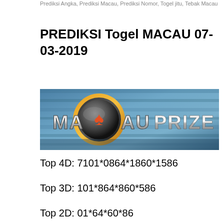Prediksi Angka, Prediksi Macau, Prediksi Nomor, Togel jitu, Tebak Macau
PREDIKSI Togel MACAU 07-03-2019
[Figure (logo): MACAUPRIZE banner logo with stylized text on a blue wood-grain background, featuring a poker chip with spade symbol]
Top 4D: 7101*0864*1860*1586
Top 3D: 101*864*860*586
Top 2D: 01*64*60*86